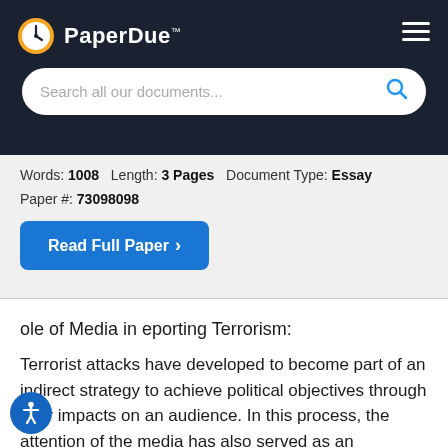PaperDue™
Search all our documents...
Words: 1008   Length: 3 Pages   Document Type: Essay
Paper #: 73098098
Read Full Paper ›
ole of Media in eporting Terrorism:
Terrorist attacks have developed to become part of an indirect strategy to achieve political objectives through their impacts on an audience. In this process, the attention of the media has also served as an